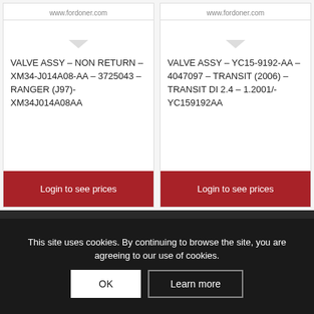www.fordoner.com
www.fordoner.com
VALVE ASSY – NON RETURN – XM34-J014A08-AA – 3725043 – RANGER (J97)-XM34J014A08AA
VALVE ASSY – YC15-9192-AA – 4047097 – TRANSIT (2006) – TRANSIT DI 2.4 – 1.2001/-YC159192AA
Login to see prices
Login to see prices
This site uses cookies. By continuing to browse the site, you are agreeing to our use of cookies.
OK
Learn more